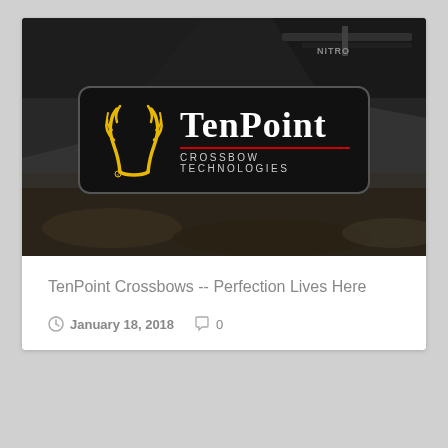[Figure (logo): TenPoint Crossbow Technologies logo on a dark black rounded rectangle background, with a gold antler icon on the left and white bold serif text 'TenPoint' above a red horizontal line and gray uppercase 'CROSSBOW TECHNOLOGIES' text below. Set against a dark grayscale photo of a hunter with a crossbow.]
TenPoint Crossbows -- Perfection Lives Here
January 18, 2018   0